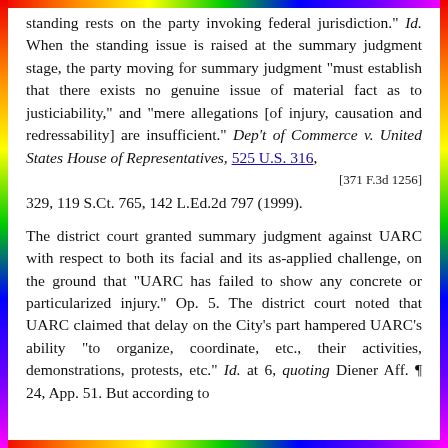standing rests on the party invoking federal jurisdiction." Id. When the standing issue is raised at the summary judgment stage, the party moving for summary judgment "must establish that there exists no genuine issue of material fact as to justiciability," and "mere allegations [of injury, causation and redressability] are insufficient." Dep't of Commerce v. United States House of Representatives, 525 U.S. 316, [371 F.3d 1256] 329, 119 S.Ct. 765, 142 L.Ed.2d 797 (1999).
The district court granted summary judgment against UARC with respect to both its facial and its as-applied challenge, on the ground that "UARC has failed to show any concrete or particularized injury." Op. 5. The district court noted that UARC claimed that delay on the City's part hampered UARC's ability "to organize, coordinate, etc., their activities, demonstrations, protests, etc." Id. at 6, quoting Diener Aff. ¶ 24, App. 51. But according to